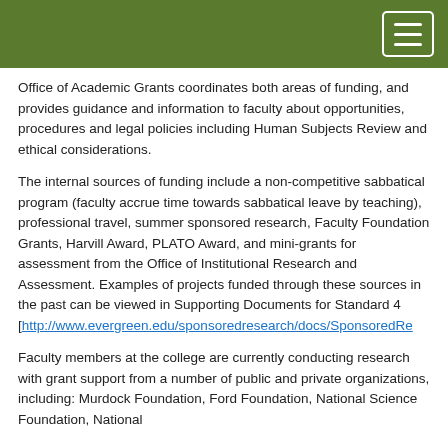Office of Academic Grants coordinates both areas of funding, and provides guidance and information to faculty about opportunities, procedures and legal policies including Human Subjects Review and ethical considerations.
The internal sources of funding include a non-competitive sabbatical program (faculty accrue time towards sabbatical leave by teaching), professional travel, summer sponsored research, Faculty Foundation Grants, Harvill Award, PLATO Award, and mini-grants for assessment from the Office of Institutional Research and Assessment. Examples of projects funded through these sources in the past can be viewed in Supporting Documents for Standard 4 [http://www.evergreen.edu/sponsoredresearch/docs/SponsoredRe
Faculty members at the college are currently conducting research with grant support from a number of public and private organizations, including: Murdock Foundation, Ford Foundation, National Science Foundation, National